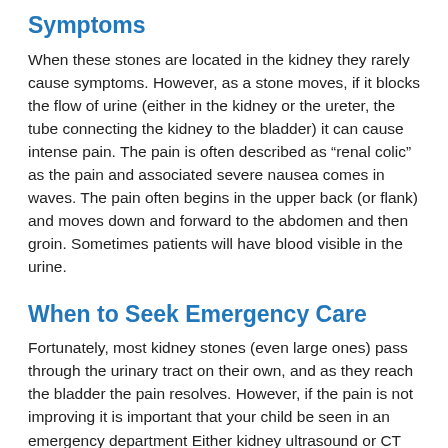Symptoms
When these stones are located in the kidney they rarely cause symptoms.  However, as a stone moves, if it blocks the flow of urine (either in the kidney or the ureter, the tube connecting the kidney to the bladder) it can cause intense pain.  The pain is often described as “renal colic” as the pain and associated severe nausea comes in waves.  The pain often begins in the upper back (or flank) and moves down and forward to the abdomen and then groin.  Sometimes patients will have blood visible in the urine.
When to Seek Emergency Care
Fortunately, most kidney stones (even large ones) pass through the urinary tract on their own, and as they reach the bladder the pain resolves.  However, if the pain is not improving it is important that your child be seen in an emergency department Either kidney ultrasound or CT scan may be done to find the size and